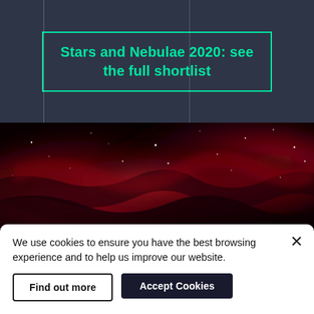Stars and Nebulae 2020: see the full shortlist
[Figure (photo): A wide horizontal photograph of a red nebula with stars visible against dark space background.]
We use cookies to ensure you have the best browsing experience and to help us improve our website.
Find out more
Accept Cookies